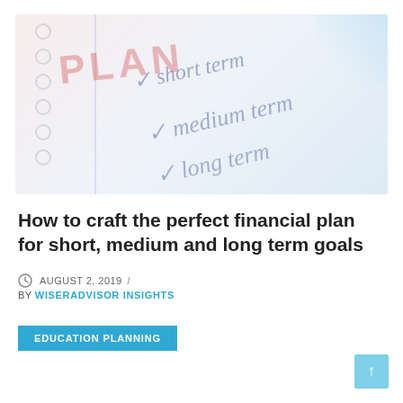[Figure (photo): Hero image showing a notebook with handwritten text: PLAN, with checkmarks next to 'short term', 'medium term', 'long term', faded pastel background in pinks and blues]
How to craft the perfect financial plan for short, medium and long term goals
AUGUST 2, 2019 / BY WISERADVISOR INSIGHTS
EDUCATION PLANNING